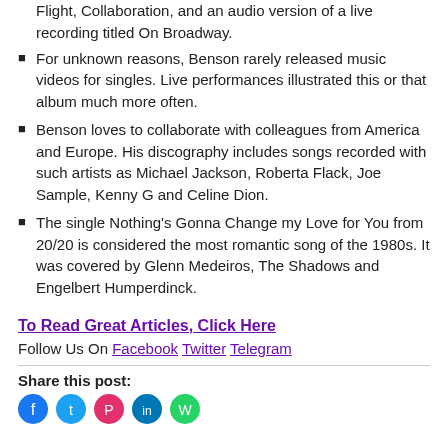Flight, Collaboration, and an audio version of a live recording titled On Broadway.
For unknown reasons, Benson rarely released music videos for singles. Live performances illustrated this or that album much more often.
Benson loves to collaborate with colleagues from America and Europe. His discography includes songs recorded with such artists as Michael Jackson, Roberta Flack, Joe Sample, Kenny G and Celine Dion.
The single Nothing's Gonna Change my Love for You from 20/20 is considered the most romantic song of the 1980s. It was covered by Glenn Medeiros, The Shadows and Engelbert Humperdinck.
To Read Great Articles, Click Here
Follow Us On Facebook Twitter Telegram
Share this post: